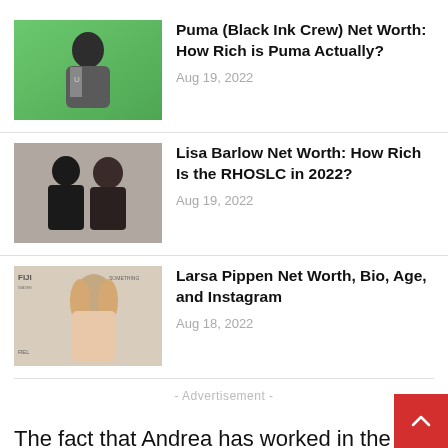[Figure (photo): Article thumbnail: man in grey jacket against green background]
Puma (Black Ink Crew) Net Worth: How Rich is Puma Actually?
Aug 19, 2022
[Figure (photo): Article thumbnail: couple posing, man in black shirt and woman in black jacket]
Lisa Barlow Net Worth: How Rich Is the RHOSLC in 2022?
Aug 19, 2022
[Figure (photo): Article thumbnail: blonde woman posing at event with FIJI Water branding]
Larsa Pippen Net Worth, Bio, Age, and Instagram
Aug 18, 2022
- Advertisement -
The fact that Andrea has worked in the production of multiple reality shows has unquestionably contributed to the growth of her riches. It has be